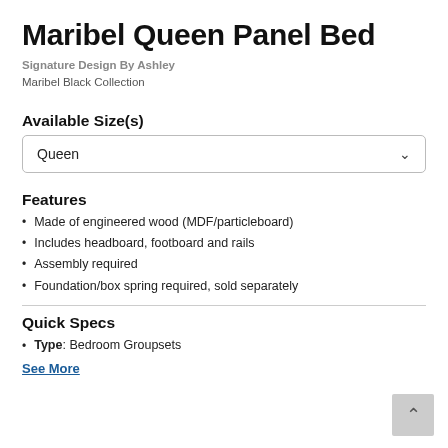Maribel Queen Panel Bed
Signature Design By Ashley
Maribel Black Collection
Available Size(s)
Queen
Features
Made of engineered wood (MDF/particleboard)
Includes headboard, footboard and rails
Assembly required
Foundation/box spring required, sold separately
Quick Specs
Type: Bedroom Groupsets
See More